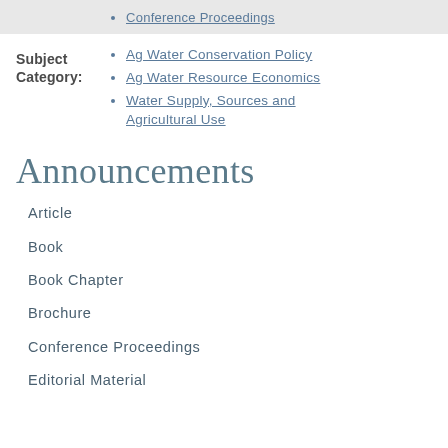Conference Proceedings
Subject Category:
Ag Water Conservation Policy
Ag Water Resource Economics
Water Supply, Sources and Agricultural Use
Announcements
Article
Book
Book Chapter
Brochure
Conference Proceedings
Editorial Material